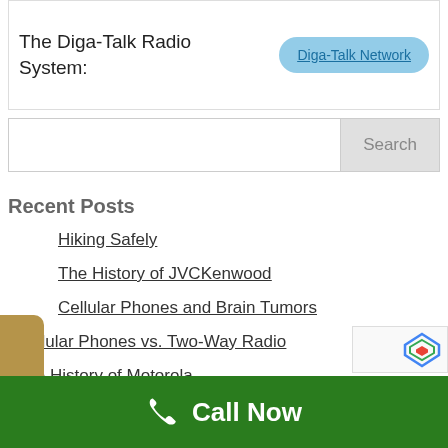The Diga-Talk Radio System:
Diga-Talk Network
Search
Recent Posts
Hiking Safely
The History of JVCKenwood
Cellular Phones and Brain Tumors
Cellular Phones vs. Two-Way Radio
The History of Motorola
Call Now